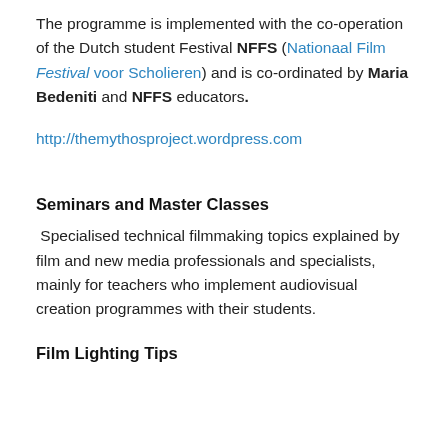The programme is implemented with the co-operation of the Dutch student Festival NFFS (Nationaal Film Festival voor Scholieren) and is co-ordinated by Maria Bedeniti and NFFS educators.
http://themythosproject.wordpress.com
Seminars and Master Classes
Specialised technical filmmaking topics explained by film and new media professionals and specialists, mainly for teachers who implement audiovisual creation programmes with their students.
Film Lighting Tips